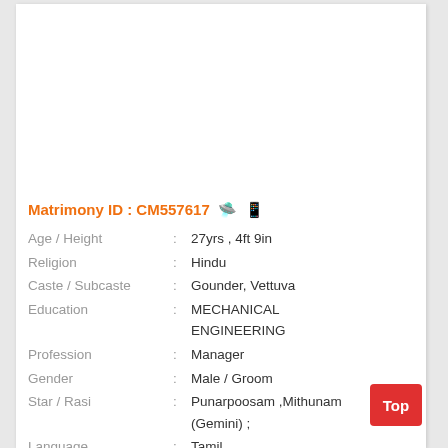Matrimony ID : CM557617 🛸📱
Age / Height : 27yrs , 4ft 9in
Religion : Hindu
Caste / Subcaste : Gounder, Vettuva
Education : MECHANICAL ENGINEERING
Profession : Manager
Gender : Male / Groom
Star / Rasi : Punarpoosam ,Mithunam (Gemini) ;
Language : Tamil
Location : KARUR